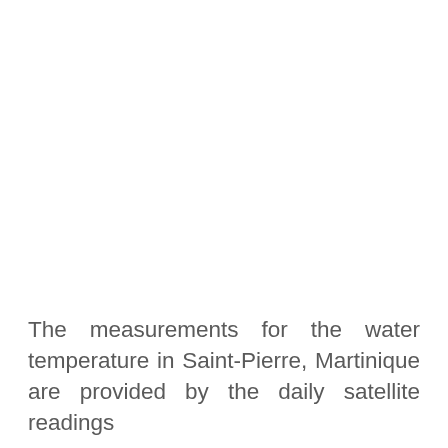The measurements for the water temperature in Saint-Pierre, Martinique are provided by the daily satellite readings